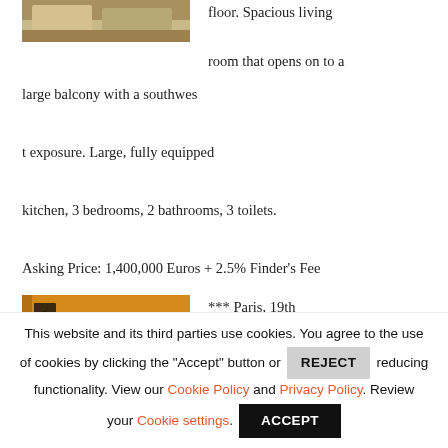[Figure (photo): Partial view of a room interior with beige/neutral furniture, top portion cropped]
floor. Spacious living room that opens on to a large balcony with a southwest exposure. Large, fully equipped kitchen, 3 bedrooms, 2 bathrooms, 3 toilets.
Asking Price: 1,400,000 Euros + 2.5% Finder's Fee
[Figure (photo): Interior room with warm orange/yellow walls and several framed artworks hanging on the wall]
*** Paris, 19th Arrondissement, 3/4 rooms, approx. 91m²
This website and its third parties use cookies. You agree to the use of cookies by clicking the "Accept" button or REJECT reducing functionality. View our Cookie Policy and Privacy Policy. Review your Cookie settings. ACCEPT